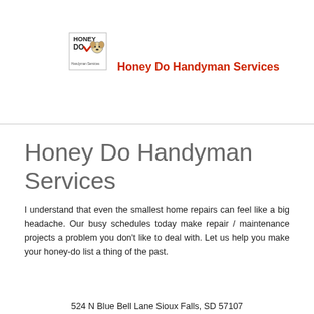[Figure (logo): Honey Do Handyman Services logo with cartoon dog and checkmark, accompanied by red brand name text]
Honey Do Handyman Services
I understand that even the smallest home repairs can feel like a big headache. Our busy schedules today make repair / maintenance projects a problem you don't like to deal with. Let us help you make your honey-do list a thing of the past.
524 N Blue Bell Lane Sioux Falls, SD 57107